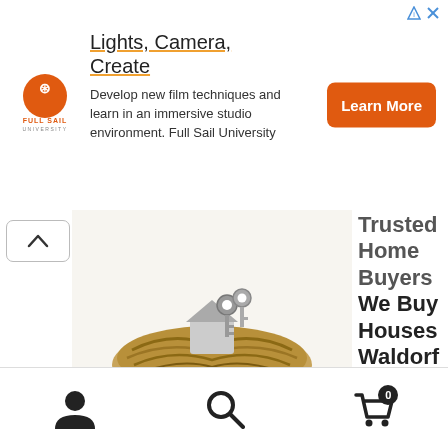[Figure (screenshot): Top advertisement banner for Full Sail University with logo, 'Lights, Camera, Create' headline, description text, and Learn More button]
[Figure (screenshot): Second advertisement block showing a bird nest with house-shaped keys, partially cropped title 'Trusted Home Buyers We Buy Houses Waldorf MD' and anbhomebuyers.com label]
[Figure (screenshot): Bottom navigation bar with user profile icon, search icon, and shopping cart icon with badge showing 0]